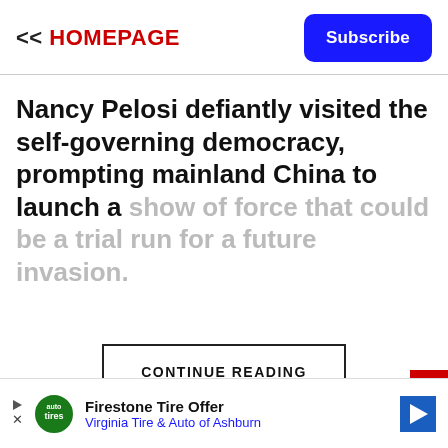<< HOMEPAGE
Nancy Pelosi defiantly visited the self-governing democracy, prompting mainland China to launch a show of force that could be a trial run for a future invasion.
CONTINUE READING
Firestone Tire Offer
Virginia Tire & Auto of Ashburn